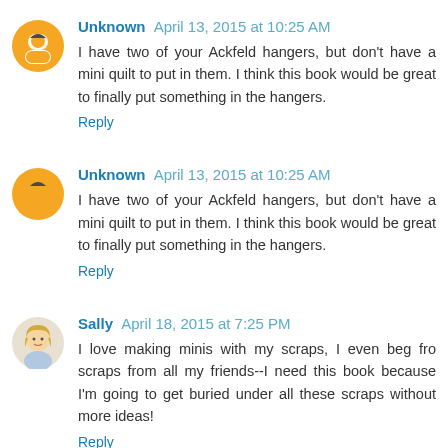Unknown April 13, 2015 at 10:25 AM
I have two of your Ackfeld hangers, but don't have a mini quilt to put in them. I think this book would be great to finally put something in the hangers.
Reply
Unknown April 13, 2015 at 10:25 AM
I have two of your Ackfeld hangers, but don't have a mini quilt to put in them. I think this book would be great to finally put something in the hangers.
Reply
Sally April 18, 2015 at 7:25 PM
I love making minis with my scraps, I even beg fro scraps from all my friends--I need this book because I'm going to get buried under all these scraps without more ideas!
Reply